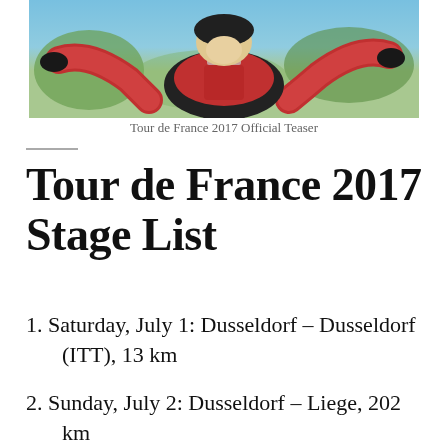[Figure (photo): Photo of a cyclist in a red and black Shimano cycling jersey with arms outstretched, blue sky and green trees in background.]
Tour de France 2017 Official Teaser
Tour de France 2017 Stage List
1. Saturday, July 1: Dusseldorf – Dusseldorf (ITT), 13 km
2. Sunday, July 2: Dusseldorf – Liege, 202 km